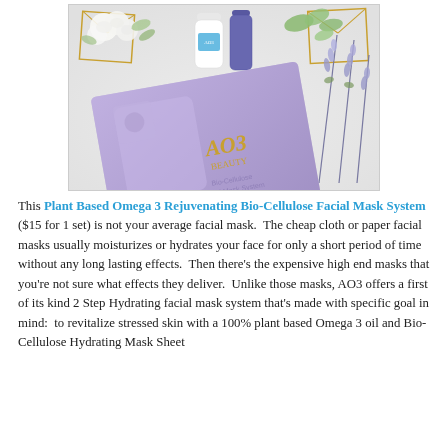[Figure (photo): Product photo of AO3 Beauty Bio-Cellulose Face Mask System in purple packaging, with a white bottle and dark purple bottle, white roses, lavender sprigs, and gold geometric terrarium decorations on a white surface.]
This Plant Based Omega 3 Rejuvenating Bio-Cellulose Facial Mask System ($15 for 1 set) is not your average facial mask.  The cheap cloth or paper facial masks usually moisturizes or hydrates your face for only a short period of time without any long lasting effects.  Then there's the expensive high end masks that you're not sure what effects they deliver.  Unlike those masks, AO3 offers a first of its kind 2 Step Hydrating facial mask system that's made with specific goal in mind:  to revitalize stressed skin with a 100% plant based Omega 3 oil and Bio-Cellulose Hydrating Mask Sheet the...